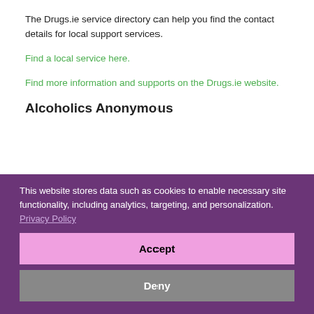The Drugs.ie service directory can help you find the contact details for local support services.
Find a local service here.
Find more information and supports on the Drugs.ie website.
Alcoholics Anonymous
This website stores data such as cookies to enable necessary site functionality, including analytics, targeting, and personalization. Privacy Policy
Accept
Deny